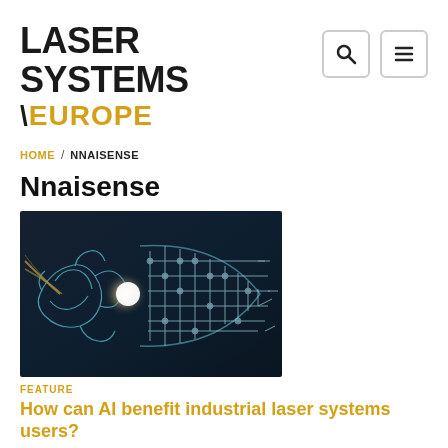LASER SYSTEMS \ EUROPE
HOME / NNAISENSE
Nnaisense
[Figure (photo): AI brain circuit board illustration with laser beam — half organic brain half digital circuit design on dark background]
FEATURE
How can AI benefit industrial laser systems users?